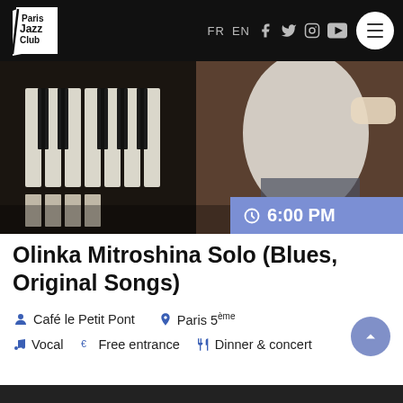Paris Jazz Club – FR EN – navigation bar with social icons
[Figure (photo): A woman playing piano, shot from above, piano keys visible on left, wooden floor visible, black and white shirt, with a blue time badge overlay showing 6:00 PM]
Olinka Mitroshina Solo (Blues, Original Songs)
Café le Petit Pont   Paris 5ème   Vocal   Free entrance   Dinner & concert